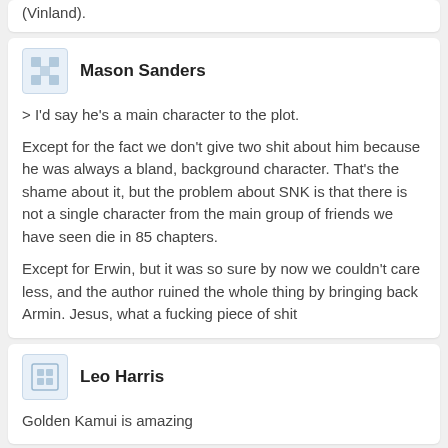(Vinland).
Mason Sanders
> I'd say he's a main character to the plot.
Except for the fact we don't give two shit about him because he was always a bland, background character. That's the shame about it, but the problem about SNK is that there is not a single character from the main group of friends we have seen die in 85 chapters.
Except for Erwin, but it was so sure by now we couldn't care less, and the author ruined the whole thing by bringing back Armin. Jesus, what a fucking piece of shit
Leo Harris
Golden Kamui is amazing
Connor Powell